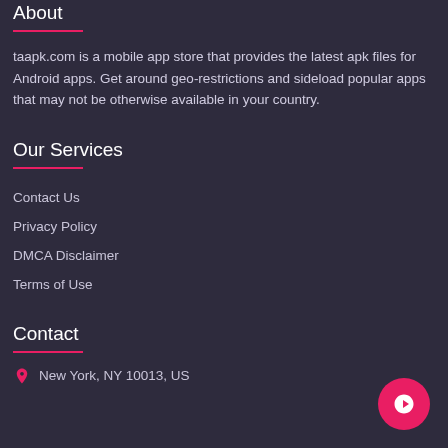About
taapk.com is a mobile app store that provides the latest apk files for Android apps. Get around geo-restrictions and sideload popular apps that may not be otherwise available in your country.
Our Services
Contact Us
Privacy Policy
DMCA Disclaimer
Terms of Use
Contact
New York, NY 10013, US